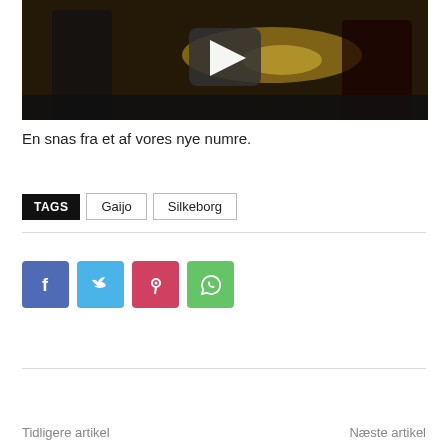[Figure (screenshot): Video thumbnail showing musicians playing trumpet and guitar in a dark setting, with a play button overlay]
En snas fra et af vores nye numre.
TAGS   Gaijo   Silkeborg
[Figure (infographic): Social media share buttons: Facebook (blue), Twitter (light blue), Pinterest (red), WhatsApp (green)]
Tidligere artikel
Næste artikel